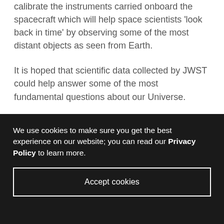calibrate the instruments carried onboard the spacecraft which will help space scientists 'look back in time' by observing some of the most distant objects as seen from Earth.
It is hoped that scientific data collected by JWST could help answer some of the most fundamental questions about our Universe.
Leicester engineers provided the mechanical
We use cookies to make sure you get the best experience on our website; you can read our Privacy Policy to learn more.
Accept cookies